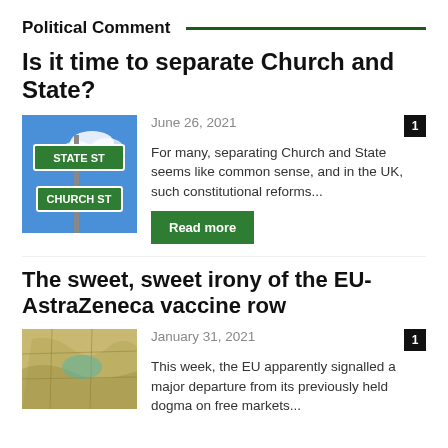Political Comment
Is it time to separate Church and State?
June 26, 2021
[Figure (photo): Green street signs reading STATE ST and CHURCH ST crossed against a blue sky]
For many, separating Church and State seems like common sense, and in the UK, such constitutional reforms...
Read more
The sweet, sweet irony of the EU-AstraZeneca vaccine row
January 31, 2021
[Figure (photo): Map documents, possibly related to EU or vaccine distribution]
This week, the EU apparently signalled a major departure from its previously held dogma on free markets...